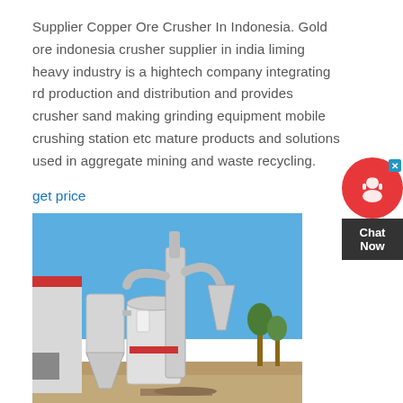Supplier Copper Ore Crusher In Indonesia. Gold ore indonesia crusher supplier in india liming heavy industry is a hightech company integrating rd production and distribution and provides crusher sand making grinding equipment mobile crushing station etc mature products and solutions used in aggregate mining and waste recycling.
get price
[Figure (photo): Industrial crusher/mill equipment installation outdoors with blue sky background, showing large grey cylindrical grinding mill with pipes and hoppers, beside a red and grey building structure.]
Portable coal jaw crusher suppliers in indonesia Consuol